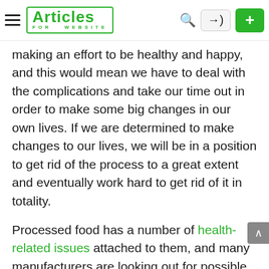Articles for Website
making an effort to be healthy and happy, and this would mean we have to deal with the complications and take our time out in order to make some big changes in our own lives. If we are determined to make changes to our lives, we will be in a position to get rid of the process to a great extent and eventually work hard to get rid of it in totality.
Processed food has a number of health-related issues attached to them, and many manufacturers are looking out for possible ways in which they can keep you hooked to their processed food. This is very dangerous for the generation today because a lot of them depend on processed food, and that is not at all good for their overall growth and development.